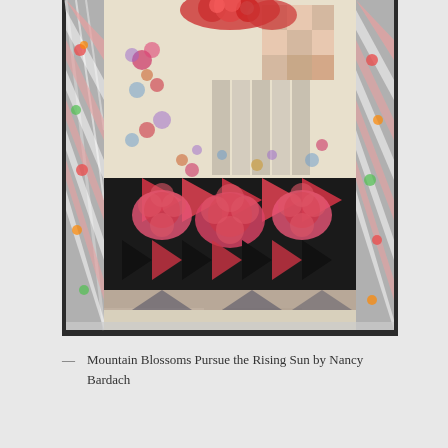[Figure (photo): A photograph of a colorful quilt titled 'Mountain Blossoms Pursue the Rising Sun' by Nancy Bardach. The quilt features floral patterns in pink, red, and multicolor on a light background, with diagonal striped borders on the sides and bold geometric/floral panels in black, red, and pink in the lower portion.]
— Mountain Blossoms Pursue the Rising Sun by Nancy Bardach